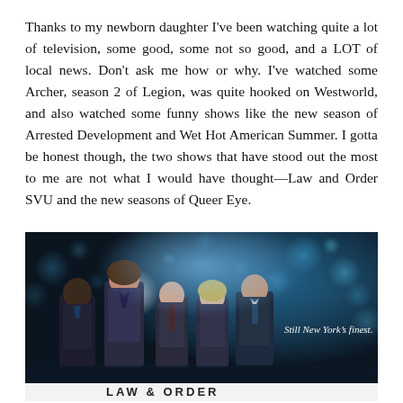Thanks to my newborn daughter I've been watching quite a lot of television, some good, some not so good, and a LOT of local news. Don't ask me how or why. I've watched some Archer, season 2 of Legion, was quite hooked on Westworld, and also watched some funny shows like the new season of Arrested Development and Wet Hot American Summer. I gotta be honest though, the two shows that have stood out the most to me are not what I would have thought—Law and Order SVU and the new seasons of Queer Eye.
[Figure (photo): Promotional image for Law & Order SVU showing five cast members in professional attire standing against a blurred city night background with bokeh lights. Text overlay reads 'Still New York's finest.' and 'LAW & ORDER' visible at the bottom.]